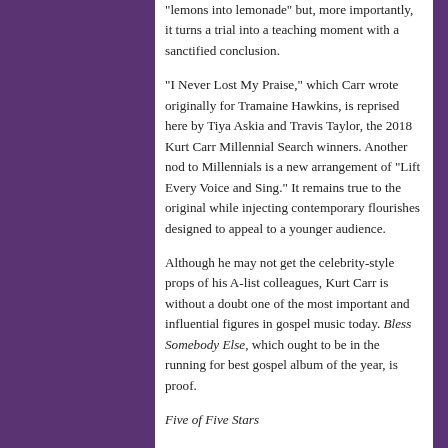“lemons into lemonade” but, more importantly, it turns a trial into a teaching moment with a sanctified conclusion.
“I Never Lost My Praise,” which Carr wrote originally for Tramaine Hawkins, is reprised here by Tiya Askia and Travis Taylor, the 2018 Kurt Carr Millennial Search winners. Another nod to Millennials is a new arrangement of “Lift Every Voice and Sing.” It remains true to the original while injecting contemporary flourishes designed to appeal to a younger audience.
Although he may not get the celebrity-style props of his A-list colleagues, Kurt Carr is without a doubt one of the most important and influential figures in gospel music today. Bless Somebody Else, which ought to be in the running for best gospel album of the year, is proof.
Five of Five Stars
Picks: “Grace Brought Me Back,” “I Owe You